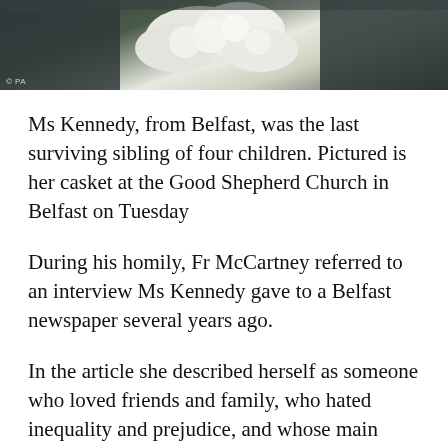[Figure (photo): Top portion of a photograph showing people in dark clothing near a casket with white flowers, taken at a church. Watermark '© PA' visible in bottom-left corner.]
Ms Kennedy, from Belfast, was the last surviving sibling of four children. Pictured is her casket at the Good Shepherd Church in Belfast on Tuesday
During his homily, Fr McCartney referred to an interview Ms Kennedy gave to a Belfast newspaper several years ago.
In the article she described herself as someone who loved friends and family, who hated inequality and prejudice, and whose main regret in life was being unable to go back in time to say sorry to anyone she had hurt.